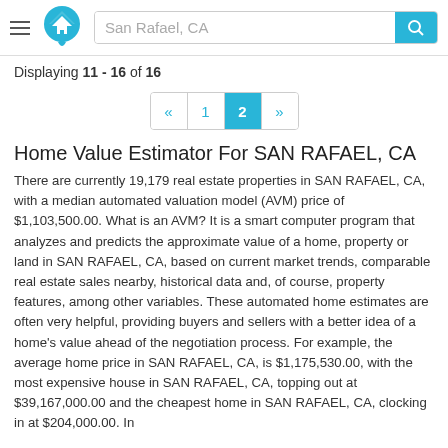San Rafael, CA
Displaying 11 - 16 of 16
« 1 2 »
Home Value Estimator For SAN RAFAEL, CA
There are currently 19,179 real estate properties in SAN RAFAEL, CA, with a median automated valuation model (AVM) price of $1,103,500.00. What is an AVM? It is a smart computer program that analyzes and predicts the approximate value of a home, property or land in SAN RAFAEL, CA, based on current market trends, comparable real estate sales nearby, historical data and, of course, property features, among other variables. These automated home estimates are often very helpful, providing buyers and sellers with a better idea of a home's value ahead of the negotiation process. For example, the average home price in SAN RAFAEL, CA, is $1,175,530.00, with the most expensive house in SAN RAFAEL, CA, topping out at $39,167,000.00 and the cheapest home in SAN RAFAEL, CA, clocking in at $204,000.00. In